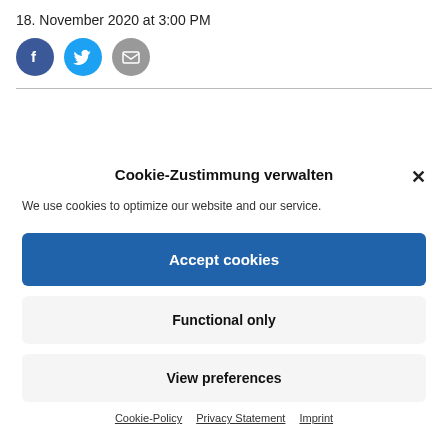18. November 2020 at 3:00 PM
[Figure (illustration): Three social sharing icons: Facebook (dark blue circle with 'f'), Twitter (light blue circle with bird), Email (grey circle with envelope)]
Cookie-Zustimmung verwalten
We use cookies to optimize our website and our service.
Accept cookies
Functional only
View preferences
Cookie-Policy  Privacy Statement  Imprint